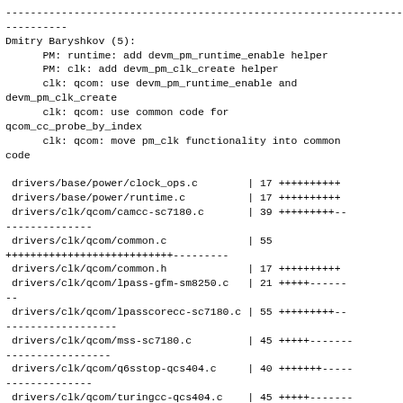--------------------------------------------------------------------------
----------
Dmitry Baryshkov (5):
      PM: runtime: add devm_pm_runtime_enable helper
      PM: clk: add devm_pm_clk_create helper
      clk: qcom: use devm_pm_runtime_enable and
devm_pm_clk_create
      clk: qcom: use common code for
qcom_cc_probe_by_index
      clk: qcom: move pm_clk functionality into common
code

 drivers/base/power/clock_ops.c        | 17 ++++++++++
 drivers/base/power/runtime.c          | 17 ++++++++++
 drivers/clk/qcom/camcc-sc7180.c       | 39 +++++++++--
--------------
 drivers/clk/qcom/common.c             | 55
+++++++++++++++++++++++++++---------
 drivers/clk/qcom/common.h             | 17 ++++++++++
 drivers/clk/qcom/lpass-gfm-sm8250.c   | 21 +++++------
--
 drivers/clk/qcom/lpasscorecc-sc7180.c | 55 +++++++++--
------------------
 drivers/clk/qcom/mss-sc7180.c         | 45 +++++-------
-----------------
 drivers/clk/qcom/q6sstop-qcs404.c     | 40 +++++++-----
--------------
 drivers/clk/qcom/turingcc-qcs404.c    | 45 +++++-------
------------------
 include/linux/pm_clock.h              |  5 ++++
 include/linux/pm_runtime.h            |  4 +++